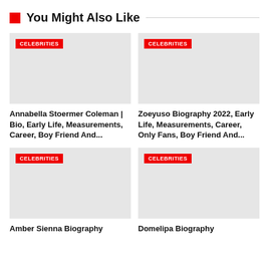You Might Also Like
[Figure (photo): Placeholder image with CELEBRITIES badge - Annabella Stoermer Coleman]
[Figure (photo): Placeholder image with CELEBRITIES badge - Zoeyuso Biography 2022]
Annabella Stoermer Coleman | Bio, Early Life, Measurements, Career, Boy Friend And...
Zoeyuso Biography 2022, Early Life, Measurements, Career, Only Fans, Boy Friend And...
[Figure (photo): Placeholder image with CELEBRITIES badge - Amber Sienna Biography]
[Figure (photo): Placeholder image with CELEBRITIES badge - Domelipa Biography]
Amber Sienna Biography
Domelipa Biography